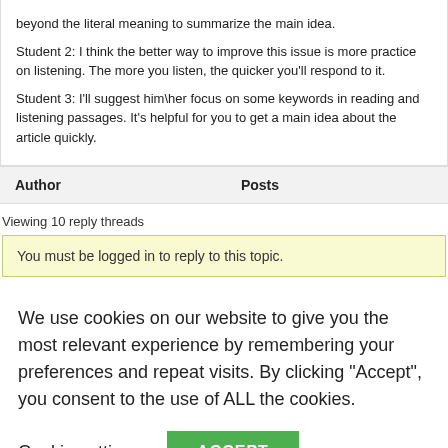beyond the literal meaning to summarize the main idea.
Student 2: I think the better way to improve this issue is more practice on listening. The more you listen, the quicker you'll respond to it.
Student 3: I'll suggest him\her focus on some keywords in reading and listening passages. It's helpful for you to get a main idea about the article quickly.
| Author | Posts |
| --- | --- |
Viewing 10 reply threads
You must be logged in to reply to this topic.
We use cookies on our website to give you the most relevant experience by remembering your preferences and repeat visits. By clicking “Accept”, you consent to the use of ALL the cookies.
Cookie settings   ACCEPT